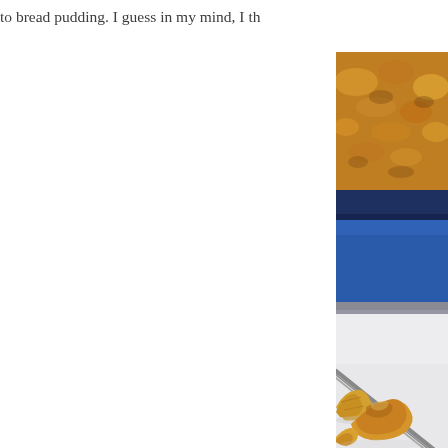to bread pudding. I guess in my mind, I th
[Figure (photo): A close-up food photograph showing a bread pudding dish in a baking pan (top, blurred background) and a serving of bread pudding on a white plate with a knife/fork, with golden-brown crispy bread pieces visible in the foreground. The image is cropped on the right side of the page.]